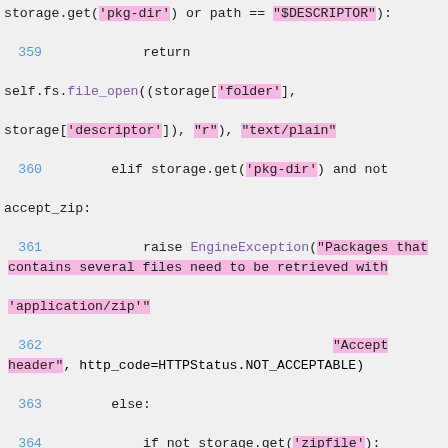[Figure (screenshot): Python source code snippet showing file handling and exception raising logic, with syntax highlighting. Line numbers 359-370 visible. String literals highlighted in pink/magenta, function names in purple, keywords in dark/black, comments in gray italic.]